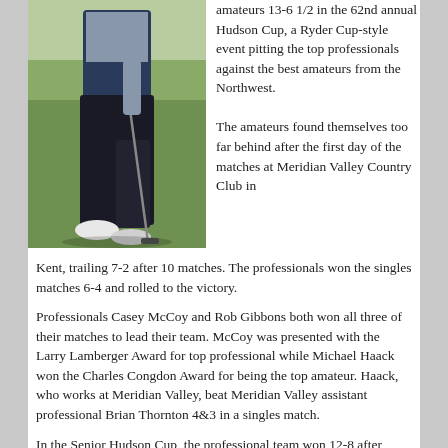[Figure (photo): A golfer from the waist down wearing black pants and a dark navy vest, walking on a golf course green while holding a golf club.]
amateurs 13-6 1/2 in the 62nd annual Hudson Cup, a Ryder Cup-style event pitting the top professionals against the best amateurs from the Northwest.
The amateurs found themselves too far behind after the first day of the matches at Meridian Valley Country Club in Kent, trailing 7-2 after 10 matches. The professionals won the singles matches 6-4 and rolled to the victory.
Professionals Casey McCoy and Rob Gibbons both won all three of their matches to lead their team. McCoy was presented with the Larry Lamberger Award for top professional while Michael Haack won the Charles Congdon Award for being the top amateur. Haack, who works at Meridian Valley, beat Meridian Valley assistant professional Brian Thornton 4&3 in a singles match.
In the Senior Hudson Cup, the professional team won 12-8 after leading just 5-4 after the first day of matches. Scott Krieger of Broadmoor Golf Club in Portland won the Bob McKendrick Award for top senior pro in winning